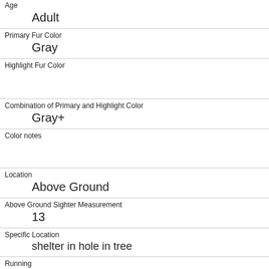| Age | Adult |
| Primary Fur Color | Gray |
| Highlight Fur Color |  |
| Combination of Primary and Highlight Color | Gray+ |
| Color notes |  |
| Location | Above Ground |
| Above Ground Sighter Measurement | 13 |
| Specific Location | shelter in hole in tree |
| Running | 0 |
| Chasing | 0 |
| Climbing |  |